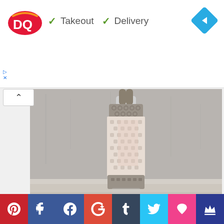[Figure (screenshot): Dairy Queen advertisement banner with DQ logo, checkmarks for Takeout and Delivery, and a blue navigation arrow icon on the right]
[Figure (photo): A water bottle wrapped in a crocheted mesh cozy in grey and cream/pink colors, standing on a light wood surface with a grey concrete background]
[Figure (screenshot): Social media sharing bar at the bottom with Pinterest (red), Facebook like (dark blue), Facebook (blue), Google+ (red-orange), Tumblr (dark blue), Twitter (cyan/light blue), heart/Fancy (pink), and crown icon (dark blue) buttons]